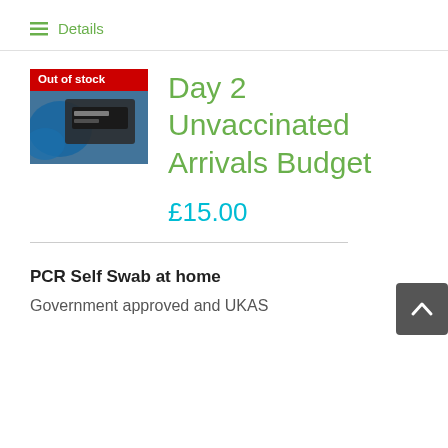≡ Details
[Figure (photo): COVID-19 test kit with 'Out of stock' red badge overlay, showing a COVID-19 labelled swab/test item with blue medical gloves visible.]
Day 2 Unvaccinated Arrivals Budget
£15.00
PCR Self Swab at home
Government approved and UKAS